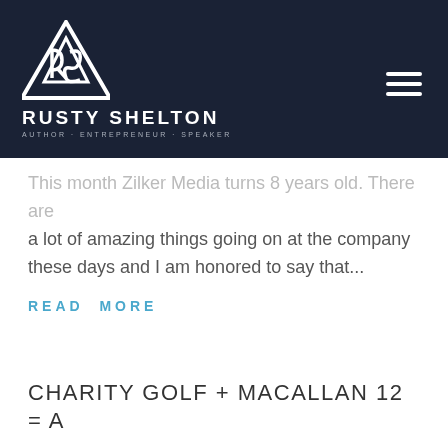[Figure (logo): Rusty Shelton logo with triangular RS monogram, name and tagline on dark navy background]
This month Zilker Media turns 8 years old. There are a lot of amazing things going on at the company these days and I am honored to say that...
READ MORE
CHARITY GOLF + MACALLAN 12 = A